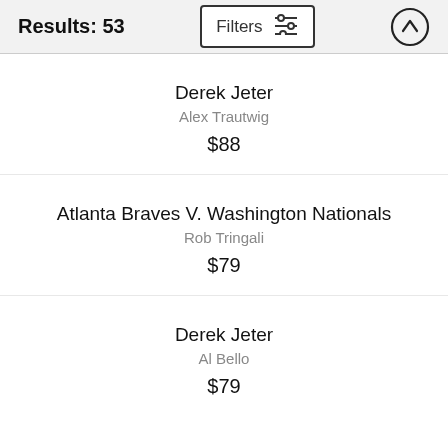Results: 53
Derek Jeter
Alex Trautwig
$88
Atlanta Braves V. Washington Nationals
Rob Tringali
$79
Derek Jeter
Al Bello
$79